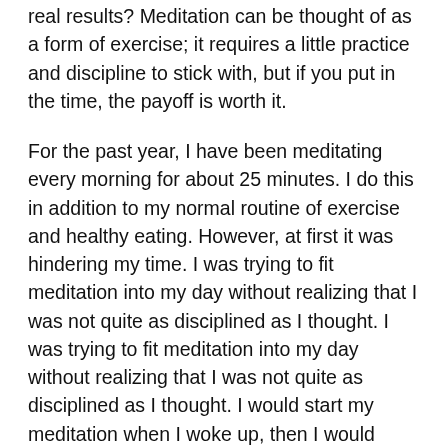real results? Meditation can be thought of as a form of exercise; it requires a little practice and discipline to stick with, but if you put in the time, the payoff is worth it.
For the past year, I have been meditating every morning for about 25 minutes. I do this in addition to my normal routine of exercise and healthy eating. However, at first it was hindering my time. I was trying to fit meditation into my day without realizing that I was not quite as disciplined as I thought. I was trying to fit meditation into my day without realizing that I was not quite as disciplined as I thought. I would start my meditation when I woke up, then I would have to do it before bed. About 2 months ago, I decided to do something different. I started meditating right before I got to work and I would do it during my lunch break.
Meditation is one of the most popular self-help tools on the market, yet there are contradicting claims about how long